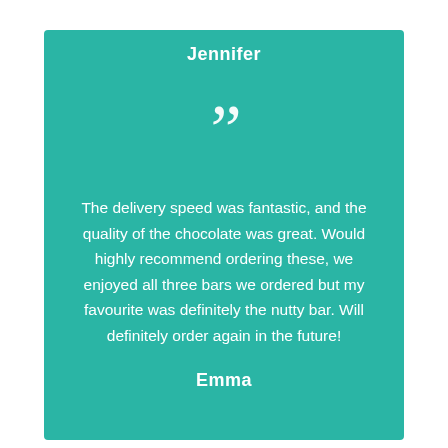Jennifer
[Figure (illustration): Large white closing double-quotation mark icon on teal background]
The delivery speed was fantastic, and the quality of the chocolate was great. Would highly recommend ordering these, we enjoyed all three bars we ordered but my favourite was definitely the nutty bar. Will definitely order again in the future!
Emma